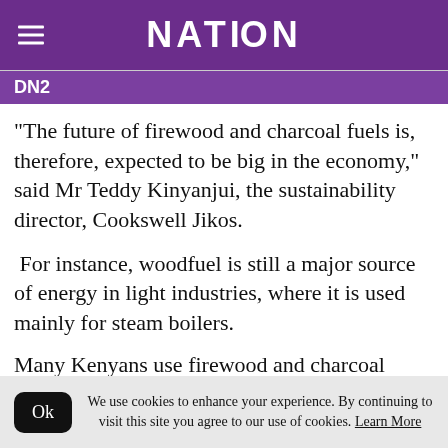NATION
DN2
“The future of firewood and charcoal fuels is, therefore, expected to be big in the economy,” said Mr Teddy Kinyanjui, the sustainability director, Cookswell Jikos.
For instance, woodfuel is still a major source of energy in light industries, where it is used mainly for steam boilers.
Many Kenyans use firewood and charcoal
We use cookies to enhance your experience. By continuing to visit this site you agree to our use of cookies. Learn More